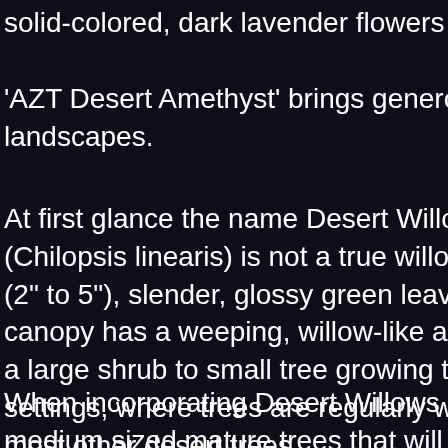solid-colored, dark lavender flowers combi
'AZT Desert Amethyst' brings generous s landscapes.
At first glance the name Desert Willow se (Chilopsis linearis) is not a true willow. M (2" to 5"), slender, glossy green leaves t canopy has a weeping, willow-like appear a large shrub to small tree growing to 15' settings, where trees are regularly watere most other desert trees.
When incorporating Desert Willows into la medium sized mature trees that will occup is an excellent accent tree when used in